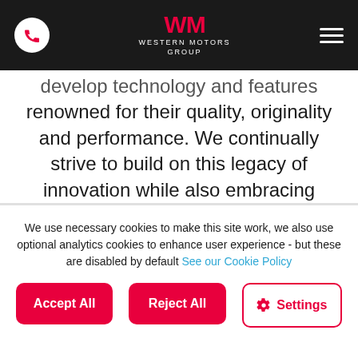Western Motors Group
develop technology and features renowned for their quality, originality and performance. We continually strive to build on this legacy of innovation while also embracing ecological measures and using our platform to promote a greener future. Across the new Volkswagen 222 range at Western Motors, we focus on improving safety, driving experience,
We use necessary cookies to make this site work, we also use optional analytics cookies to enhance user experience - but these are disabled by default See our Cookie Policy
Accept All
Reject All
Settings